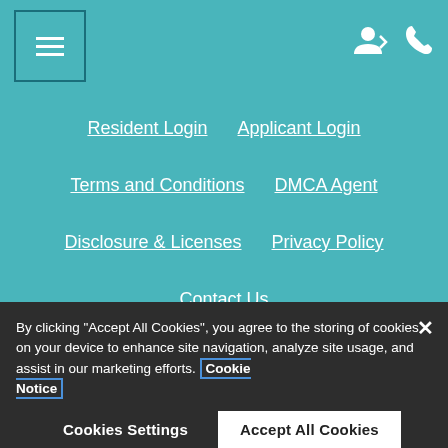Navigation menu with hamburger icon and user/phone icons
Resident Login
Applicant Login
Terms and Conditions
DMCA Agent
Disclosure & Licenses
Privacy Policy
Contact Us
© 2022 San Valiente. All Rights Reserved. | Powered
By clicking "Accept All Cookies", you agree to the storing of cookies on your device to enhance site navigation, analyze site usage, and assist in our marketing efforts. Cookie Notice
Cookies Settings
Accept All Cookies